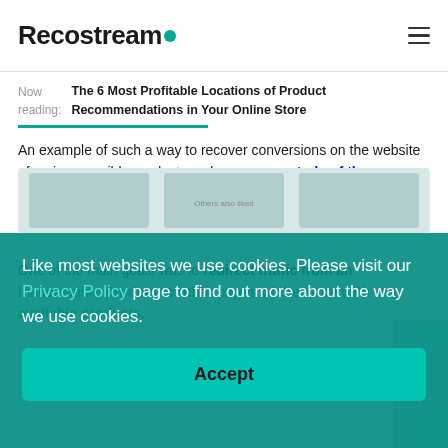Recostream
Now reading: The 6 Most Profitable Locations of Product Recommendations in Your Online Store
An example of such a way to recover conversions on the website of an inaccessible product can be our case study of the implementation of a personalized recommendation engine in an online beauty store.
One of the main goals was to redirect traffic from an inaccessible product to other pages of the store with available products.
Like most websites we use cookies. Please visit our Privacy Policy page to find out more about the way we use cookies.
Accept